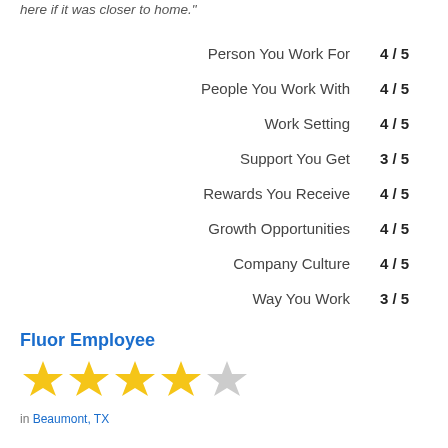here if it was closer to home."
| Category | Score |
| --- | --- |
| Person You Work For | 4 / 5 |
| People You Work With | 4 / 5 |
| Work Setting | 4 / 5 |
| Support You Get | 3 / 5 |
| Rewards You Receive | 4 / 5 |
| Growth Opportunities | 4 / 5 |
| Company Culture | 4 / 5 |
| Way You Work | 3 / 5 |
Fluor Employee
[Figure (other): 4 out of 5 star rating — four filled yellow stars and one grey star]
in Beaumont, TX